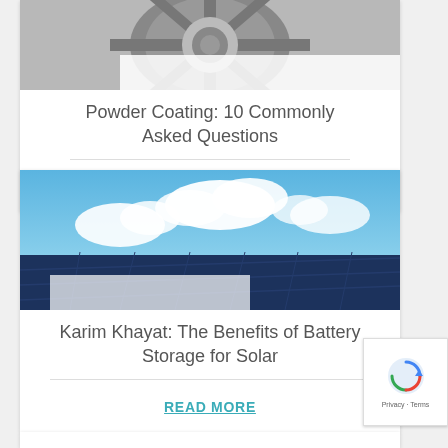[Figure (photo): Car wheel/rim photo cropped at top]
Powder Coating: 10 Commonly Asked Questions
READ MORE
[Figure (photo): Solar panels against blue sky with clouds]
Karim Khayat: The Benefits of Battery Storage for Solar
READ MORE